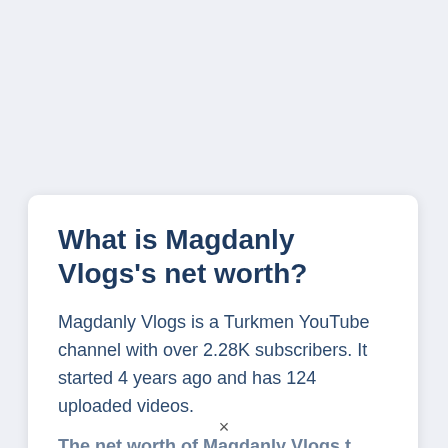What is Magdanly Vlogs's net worth?
Magdanly Vlogs is a Turkmen YouTube channel with over 2.28K subscribers. It started 4 years ago and has 124 uploaded videos.
The net worth of Magdanly Vlogs is...